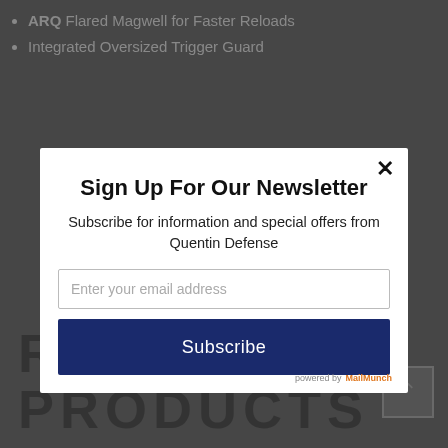ARQ Flared Magwell for Faster Reloads
Integrated Oversized Trigger Guard
Sign Up For Our Newsletter
Subscribe for information and special offers from
Quentin Defense
Enter your email address
Subscribe
powered by MailMunch
RELATED PRODUCTS